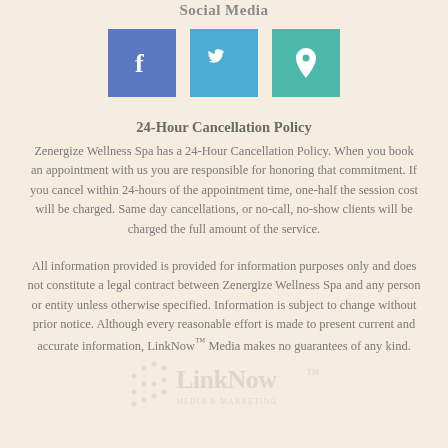Social Media
[Figure (illustration): Three social media icon boxes: Facebook (blue with f), Twitter (light blue with bird), Location (teal with pin)]
24-Hour Cancellation Policy
Zenergize Wellness Spa has a 24-Hour Cancellation Policy. When you book an appointment with us you are responsible for honoring that commitment. If you cancel within 24-hours of the appointment time, one-half the session cost will be charged. Same day cancellations, or no-call, no-show clients will be charged the full amount of the service.
All information provided is provided for information purposes only and does not constitute a legal contract between Zenergize Wellness Spa and any person or entity unless otherwise specified. Information is subject to change without prior notice. Although every reasonable effort is made to present current and accurate information, LinkNow™ Media makes no guarantees of any kind.
[Figure (logo): LinkNow Media watermark logo in light gray]